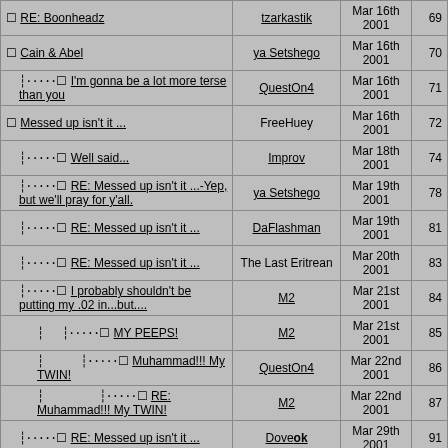| Subject | Author | Date | Num |
| --- | --- | --- | --- |
| RE: Boonheadz | tzarkastik | Mar 16th 2001 | 69 |
| Cain & Abel | ya Setshego | Mar 16th 2001 | 70 |
| I'm gonna be a lot more terse than you | QuestOn4 | Mar 16th 2001 | 71 |
| Messed up isn't it ... | FreeHuey | Mar 16th 2001 | 72 |
| Well said... | Improv | Mar 18th 2001 | 74 |
| RE: Messed up isn't it ...-Yep, but we'll pray for y'all. | ya Setshego | Mar 19th 2001 | 78 |
| RE: Messed up isn't it ... | DaFlashman | Mar 19th 2001 | 81 |
| RE: Messed up isn't it ... | The Last Eritrean | Mar 20th 2001 | 83 |
| I probably shouldn't be putting my .02 in...but.... | M2 | Mar 21st 2001 | 84 |
| MY PEEPS! | M2 | Mar 21st 2001 | 85 |
| Muhammad!!! My TWIN! | QuestOn4 | Mar 22nd 2001 | 86 |
| RE: Muhammad!!! My TWIN! | M2 | Mar 22nd 2001 | 87 |
| RE: Messed up isn't it ... | Doveok | Mar 29th 2001 | 91 |
| the funny thing is.......... | StillWaters | Mar 18th 2001 | 75 |